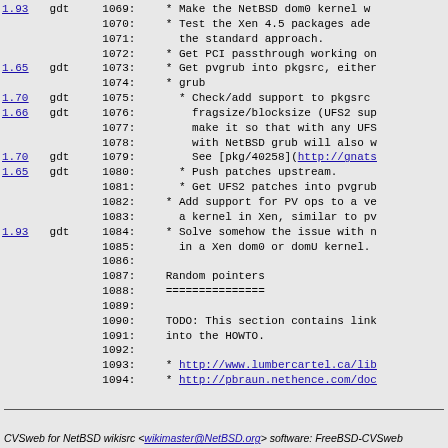CVS annotated source code listing lines 1069-1094 with version numbers, authors, line numbers, and code content
CVSweb for NetBSD wikisrc <wikimaster@NetBSD.org> software: FreeBSD-CVSweb